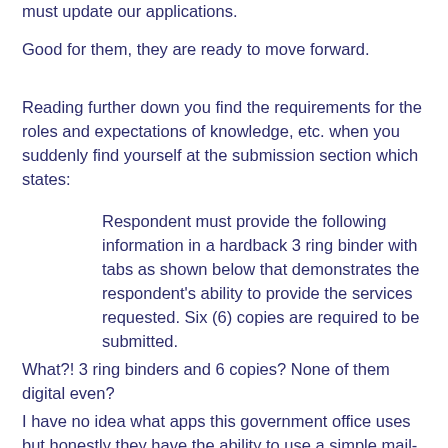must update our applications.
Good for them, they are ready to move forward.
Reading further down you find the requirements for the roles and expectations of knowledge, etc. when you suddenly find yourself at the submission section which states:
Respondent must provide the following information in a hardback 3 ring binder with tabs as shown below that demonstrates the respondent’s ability to provide the services requested. Six (6) copies are required to be submitted.
What?! 3 ring binders and 6 copies? None of them digital even?
I have no idea what apps this government office uses but honestly they have the ability to use a simple mail-in